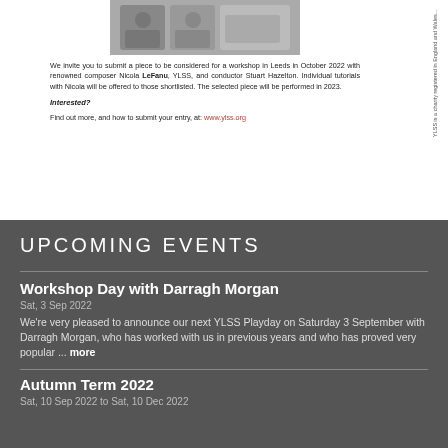[Figure (photo): Photo of musicians/performers at a workshop event]
We invite you to submit a piece to be considered for a workshop in Leeds in October 2022 with renowned composer Nicola LeFanu, YLSS, and conductor Stuart Hazelton. Individual tutorials with Nicola will be offered to those shortlisted. The selected piece will be performed in 2023.
Interested?
Find out more, and how to submit your entry, at: www.ylss.org
YLSS is a charity registered in England and Wales...
UPCOMING EVENTS
Workshop Day with Darragh Morgan
Sat, 3 Sep 2022
We're very pleased to announce our next YLSS Playday on Saturday 3 September with Darragh Morgan, who has worked with us in previous years and who has proved very popular ... more
Autumn Term 2022
Sat, 10 Sep 2022 to Sat, 10 Dec 2022